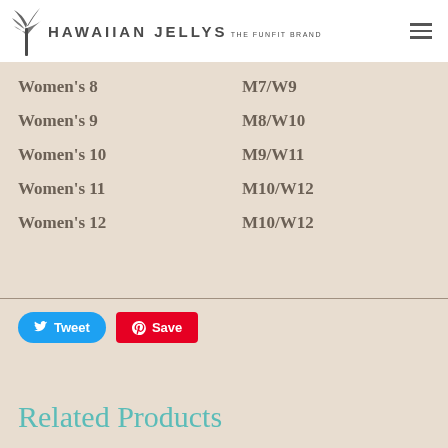HAWAIIAN JELLYS THE FUNFIT BRAND
| Size | Fit |
| --- | --- |
| Women's 8 | M7/W9 |
| Women's 9 | M8/W10 |
| Women's 10 | M9/W11 |
| Women's 11 | M10/W12 |
| Women's 12 | M10/W12 |
Tweet
Save
Related Products